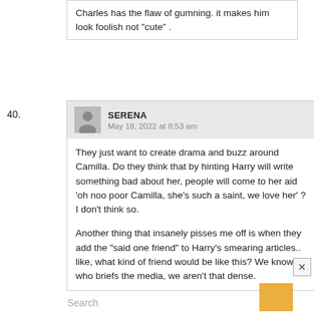Charles has the flaw of gumning. it makes him look foolish not “cute” .
40.
SERENA
May 18, 2022 at 8:53 am
They just want to create drama and buzz around Camilla. Do they think that by hinting Harry will write something bad about her, people will come to her aid ‘oh noo poor Camilla, she’s such a saint, we love her’ ? I don’t think so.

Another thing that insanely pisses me off is when they add the “said one friend” to Harry’s smearing articles.. like, what kind of friend would be like this? We know who briefs the media, we aren’t that dense.